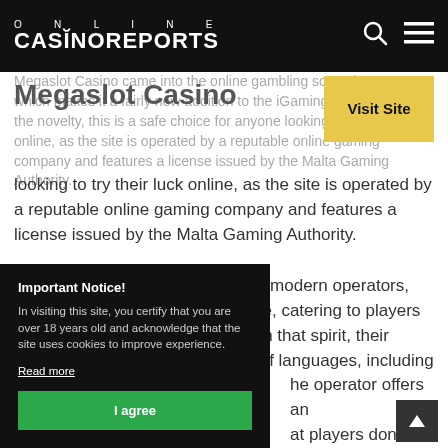ONLINE CASINOREPORTS
Megaslot Casino
Megaslot Casino came into the online gambling scene in 2019, which makes it a fairly new addition to the iGaming world. Despite the novelty, this is a safe choice for anyone looking to try their luck online, as the site is operated by a reputable online gaming company and features a license issued by the Malta Gaming Authority.
Megaslot Casino, like many other modern operators, aims to be a truly international site, catering to players from different parts of the world. In that spirit, their website is available in a number of languages, including English, Italian, Finnish, French, Croatian.
the operator offers an that players don't need to play here. The site itself gn with just enough color
Important Notice!
In visiting this site, you certify that you are over 18 years old and acknowledge that the site uses cookies to improve experience.
Read more
I agree